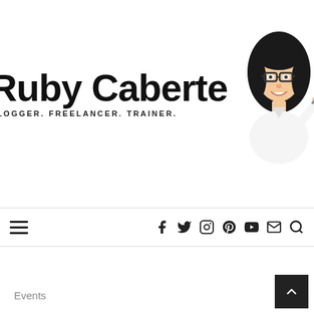[Figure (logo): Ruby Caberte brand logo with illustrated cartoon avatar of a woman with dark hair holding a pen/pencil, text reads 'Ruby Caberte' in large bold font with tagline 'BLOGGER. FREELANCER. TRAINER.' below]
menu icon | social icons: facebook, twitter, instagram, pinterest, youtube, email, search
Events